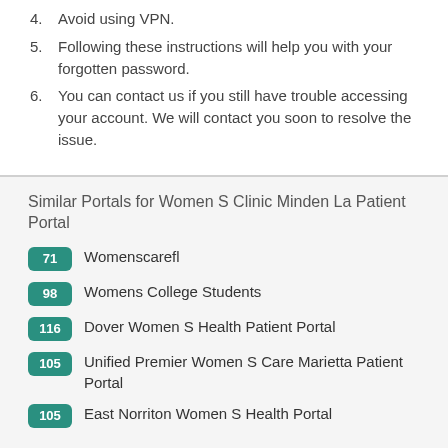4. Avoid using VPN.
5. Following these instructions will help you with your forgotten password.
6. You can contact us if you still have trouble accessing your account. We will contact you soon to resolve the issue.
Similar Portals for Women S Clinic Minden La Patient Portal
71 Womenscarefl
98 Womens College Students
116 Dover Women S Health Patient Portal
105 Unified Premier Women S Care Marietta Patient Portal
105 East Norriton Women S Health Portal